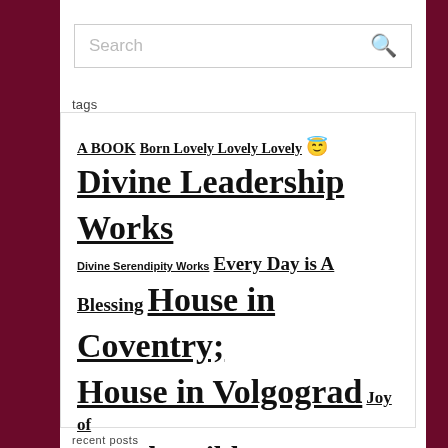[Figure (screenshot): Search box with magnifying glass icon]
tags
A BOOK Born Lovely Lovely Lovely 😇 Divine Leadership Works Divine Serendipity Works Every Day is A Blessing House in Coventry; House in Volgograd Joy of Living The Bible Радость Бытия
recent posts